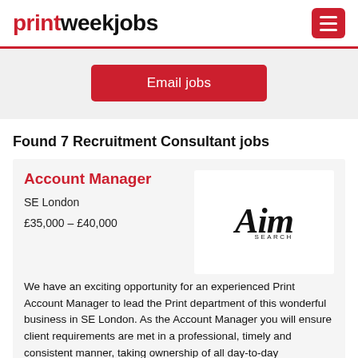printweekjobs
Email jobs
Found 7 Recruitment Consultant jobs
Account Manager
SE London
£35,000 – £40,000
[Figure (logo): Aim Search company logo in italic serif font]
We have an exciting opportunity for an experienced Print Account Manager to lead the Print department of this wonderful business in SE London. As the Account Manager you will ensure client requirements are met in a professional, timely and consistent manner, taking ownership of all day-to-day